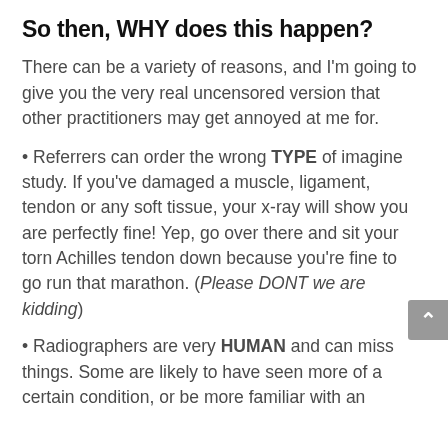So then, WHY does this happen?
There can be a variety of reasons, and I'm going to give you the very real uncensored version that other practitioners may get annoyed at me for.
• Referrers can order the wrong TYPE of imagine study. If you've damaged a muscle, ligament, tendon or any soft tissue, your x-ray will show you are perfectly fine! Yep, go over there and sit your torn Achilles tendon down because you're fine to go run that marathon. (Please DONT we are kidding)
• Radiographers are very HUMAN and can miss things. Some are likely to have seen more of a certain condition, or be more familiar with an